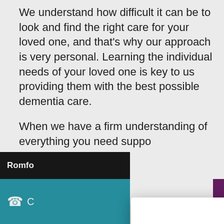We understand how difficult it can be to look and find the right care for your loved one, and that's why our approach is very personal. Learning the individual needs of your loved one is key to us providing them with the best possible dementia care.
When we have a firm understanding of everything you need suppo[rt with, we can create a detailed, personalised [care plan]. Our care managers like to meet and talk thr[ough this with you] to ensure you are happy.
There is no [one-size-fits-all approach when] it comes to d[ementia care. We cover everything from] medication m[anagement to...]
Romfo[rd]
[Figure (screenshot): Cookie consent modal dialog on homeinstead.co.uk with title 'Cookies on homeinstead.co.uk', body text about cookie usage, 'Accept all cookies' button in purple, and 'Manage cookies' underlined link. A close (×) button appears top right. A reCAPTCHA badge is partially visible at bottom right.]